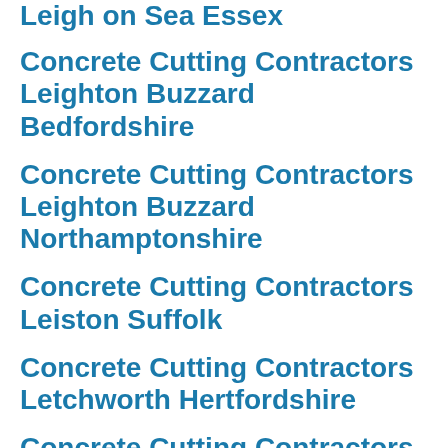Leigh on Sea Essex
Concrete Cutting Contractors Leighton Buzzard Bedfordshire
Concrete Cutting Contractors Leighton Buzzard Northamptonshire
Concrete Cutting Contractors Leiston Suffolk
Concrete Cutting Contractors Letchworth Hertfordshire
Concrete Cutting Contractors Lewes Sussex
Concrete Cutting Contractors Leyland Lancashire